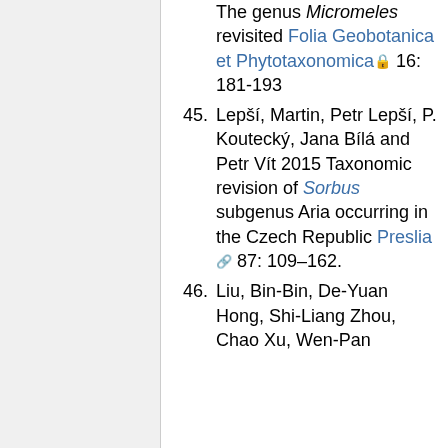The genus Micromeles revisited Folia Geobotanica et Phytotaxonomica 16: 181-193
45. Lepší, Martin, Petr Lepší, P. Koutecký, Jana Bílá and Petr Vít 2015 Taxonomic revision of Sorbus subgenus Aria occurring in the Czech Republic Preslia 87: 109–162.
46. Liu, Bin-Bin, De-Yuan Hong, Shi-Liang Zhou, Chao Xu, Wen-Pan